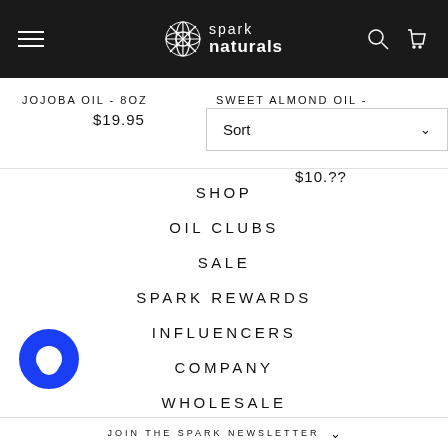Spark Naturals
JOJOBA OIL - 8OZ
$19.95
SWEET ALMOND OIL -
Sort
$10.??
SHOP
OIL CLUBS
SALE
SPARK REWARDS
INFLUENCERS
COMPANY
WHOLESALE
JOIN THE SPARK NEWSLETTER